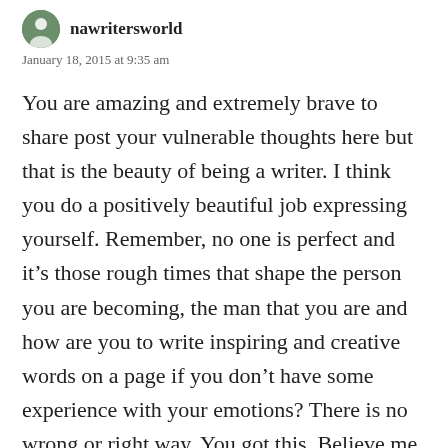nawritersworld
January 18, 2015 at 9:35 am
You are amazing and extremely brave to share post your vulnerable thoughts here but that is the beauty of being a writer. I think you do a positively beautiful job expressing yourself. Remember, no one is perfect and it's those rough times that shape the person you are becoming, the man that you are and how are you to write inspiring and creative words on a page if you don't have some experience with your emotions? There is no wrong or right way. You got this. Believe me as an aspiring writer myself – I understand. Sometimes you just need to be reminded that it's all going to work out the way it should be, just need to accept…